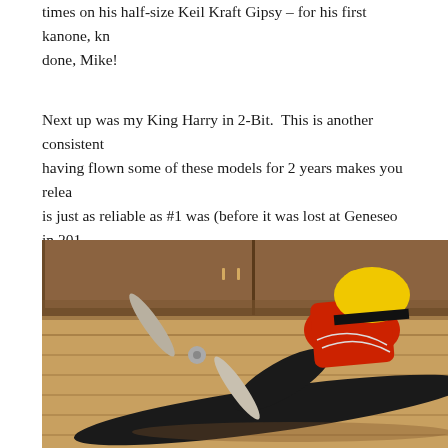times on his half-size Keil Kraft Gipsy – for his first kanone, done, Mike!
Next up was my King Harry in 2-Bit. This is another consistent having flown some of these models for 2 years makes you relea is just as reliable as #1 was (before it was lost at Geneseo in 201 not matched and I took first place.
[Figure (photo): A model airplane photographed indoors on a wooden floor. The plane has a black fuselage/wing with red and yellow markings on the nose/body section. A silver propeller is visible on the left side. The background shows wooden cabinetry and a hardwood floor.]